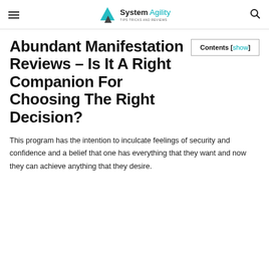System Agility – Tips Tricks and Reviews
Abundant Manifestation Reviews – Is It A Right Companion For Choosing The Right Decision?
Contents [show]
This program has the intention to inculcate feelings of security and confidence and a belief that one has everything that they want and now they can achieve anything that they desire.